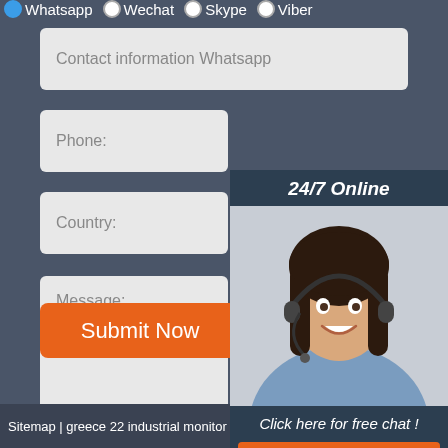Whatsapp  Wechat  Skype  Viber
Contact information Whatsapp
Phone:
[Figure (photo): Customer service representative wearing headset, smiling, with '24/7 Online' header and 'Click here for free chat!' and QUOTATION button]
Country:
Message:
Submit Now
[Figure (other): TOP icon with dotted triangle above the word TOP in orange]
Sitemap | greece 22 industrial monitor universities | russia smart